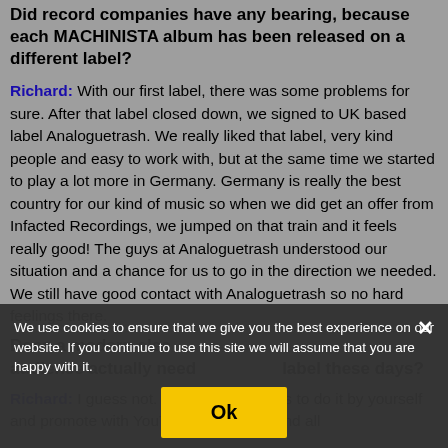Did record companies have any bearing, because each MACHINISTA album has been released on a different label?
Richard: With our first label, there was some problems for sure. After that label closed down, we signed to UK based label Analoguetrash. We really liked that label, very kind people and easy to work with, but at the same time we started to play a lot more in Germany. Germany is really the best country for our kind of music so when we did get an offer from Infacted Recordings, we jumped on that train and it feels really good! The guys at Analoguetrash understood our situation and a chance for us to go in the direction we needed. We still have good contact with Analoguetrash so no hard feelings there.
Does a modern electronic band with a niche audience actually need a record label these days?
Richard: I guess not. It's easy nowadays to do it by yourself and promote with YouTube, Facebook and all
We use cookies to ensure that we give you the best experience on our website. If you continue to use this site we will assume that you are happy with it.